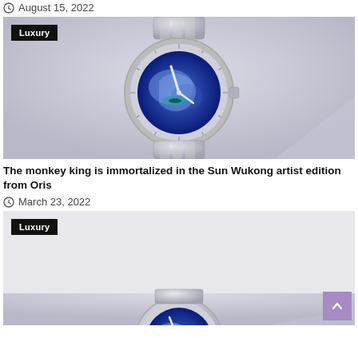August 15, 2022
[Figure (photo): Silver watch with blue artistic dial featuring Monkey King / Sun Wukong imagery, on metal bracelet, with 'Luxury' badge overlay]
The monkey king is immortalized in the Sun Wukong artist edition from Oris
March 23, 2022
[Figure (photo): Silver watch with blue artistic dial featuring Monkey King / Sun Wukong imagery, on metal bracelet, with 'Luxury' badge overlay — partially cropped]